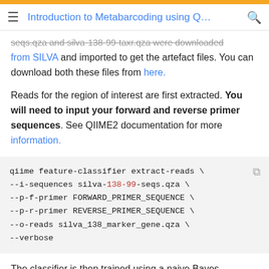Introduction to Metabarcoding using Q...
seqs.qza and silva-138-99-taxr.qza were downloaded from SILVA and imported to get the artefact files. You can download both these files from here.
Reads for the region of interest are first extracted. You will need to input your forward and reverse primer sequences. See QIIME2 documentation for more information.
qiime feature-classifier extract-reads \
--i-sequences silva-138-99-seqs.qza \
--p-f-primer FORWARD_PRIMER_SEQUENCE \
--p-r-primer REVERSE_PRIMER_SEQUENCE \
--o-reads silva_138_marker_gene.qza \
--verbose
The classifier is then trained using a naive Bayes algorithm. See QIIME2 documentation for more